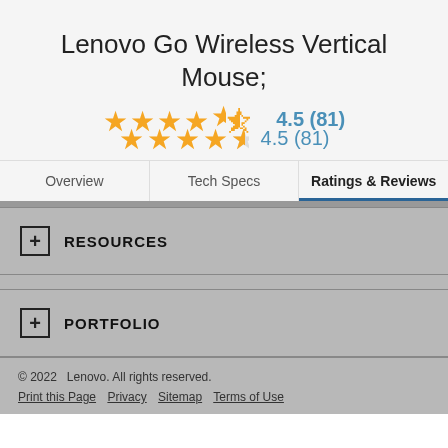Lenovo Go Wireless Vertical Mouse;
★★★★½  4.5 (81)
Overview | Tech Specs | Ratings & Reviews
+ RESOURCES
+ PORTFOLIO
© 2022   Lenovo. All rights reserved. Print this Page  Privacy  Sitemap  Terms of Use